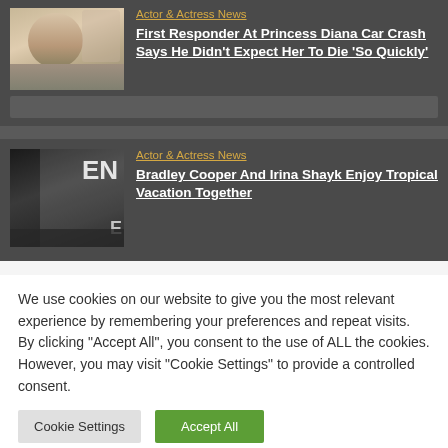[Figure (photo): Photo of a man with sunglasses outdoors]
Actor & Actress News
First Responder At Princess Diana Car Crash Says He Didn't Expect Her To Die 'So Quickly'
[Figure (photo): Photo of two people at an event, one in white suit]
Actor & Actress News
Bradley Cooper And Irina Shayk Enjoy Tropical Vacation Together
We use cookies on our website to give you the most relevant experience by remembering your preferences and repeat visits. By clicking "Accept All", you consent to the use of ALL the cookies. However, you may visit "Cookie Settings" to provide a controlled consent.